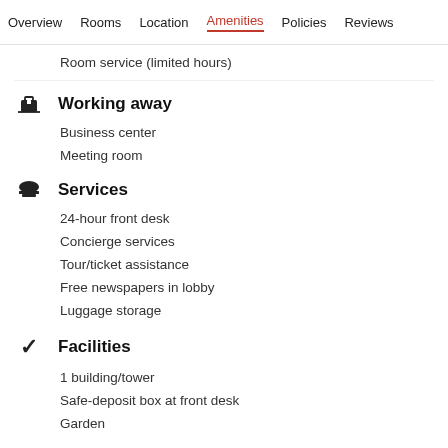Overview  Rooms  Location  Amenities  Policies  Reviews
Room service (limited hours)
Working away
Business center
Meeting room
Services
24-hour front desk
Concierge services
Tour/ticket assistance
Free newspapers in lobby
Luggage storage
Facilities
1 building/tower
Safe-deposit box at front desk
Garden